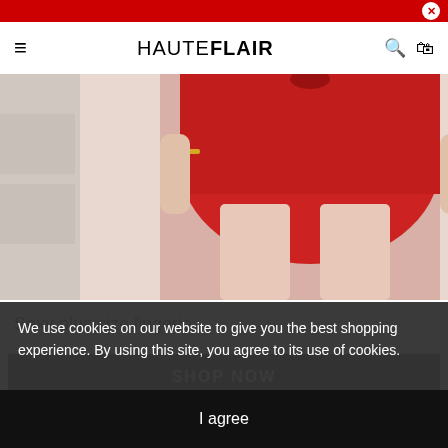HAUTEFLAIR
[Figure (photo): Person wearing red lace lingerie shorts, partial body view from waist down, light background]
Sexy plus size lingerie
SHOP NOW
We use cookies on our website to give you the best shopping experience. By using this site, you agree to its use of cookies.
I agree